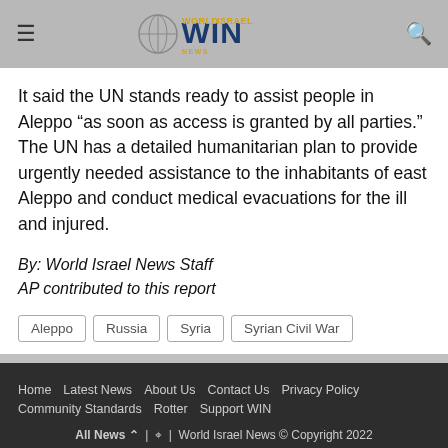WIN World Israel News
It said the UN stands ready to assist people in Aleppo “as soon as access is granted by all parties.” The UN has a detailed humanitarian plan to provide urgently needed assistance to the inhabitants of east Aleppo and conduct medical evacuations for the ill and injured.
By: World Israel News Staff
AP contributed to this report
Aleppo
Russia
Syria
Syrian Civil War
Home | Latest News | About Us | Contact Us | Privacy Policy | Community Standards | Rotter | Support WIN
All News ⌃ | ⦿ | World Israel News © Copyright 2022